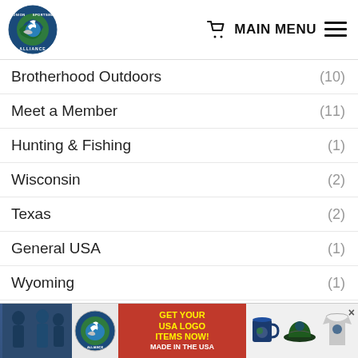Union Sportsmen's Alliance — MAIN MENU
Brotherhood Outdoors (10)
Meet a Member (11)
Hunting & Fishing (1)
Wisconsin (2)
Texas (2)
General USA (1)
Wyoming (1)
Alaska (1)
Virginia (2)
[Figure (illustration): Union Sportsmen's Alliance promotional banner: GET YOUR USA LOGO ITEMS NOW! MADE IN THE USA, with mug, hat, and shirt graphics]